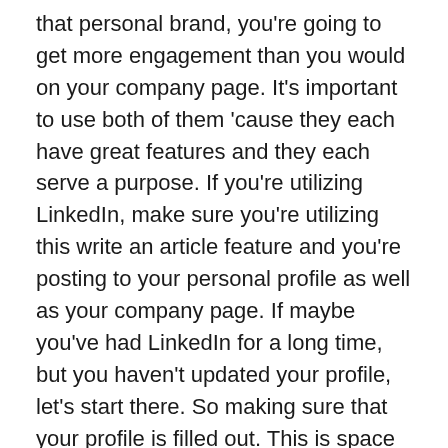that personal brand, you're going to get more engagement than you would on your company page. It's important to use both of them 'cause they each have great features and they each serve a purpose. If you're utilizing LinkedIn, make sure you're utilizing this write an article feature and you're posting to your personal profile as well as your company page. If maybe you've had LinkedIn for a long time, but you haven't updated your profile, let's start there. So making sure that your profile is filled out. This is space for advertising or your personal brand. To me, this image speaks of digital marketing. We're always on the computer and this is something that I really… It just kind of resonated with me. You have a professional headshot or it's you, it's not you and your kids or you and your husband, this is more about you and your expertise than it is the personal side of